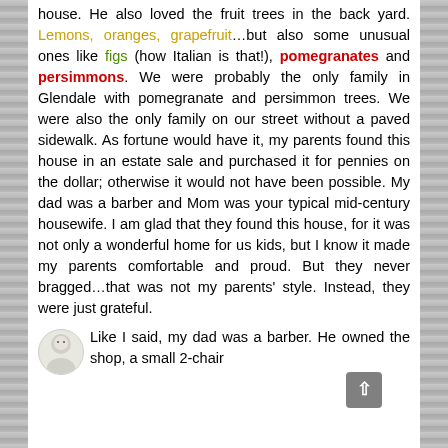house. He also loved the fruit trees in the back yard. Lemons, oranges, grapefruit…but also some unusual ones like figs (how Italian is that!), pomegranates and persimmons. We were probably the only family in Glendale with pomegranate and persimmon trees. We were also the only family on our street without a paved sidewalk. As fortune would have it, my parents found this house in an estate sale and purchased it for pennies on the dollar; otherwise it would not have been possible. My dad was a barber and Mom was your typical mid-century housewife. I am glad that they found this house, for it was not only a wonderful home for us kids, but I know it made my parents comfortable and proud. But they never bragged…that was not my parents' style. Instead, they were just grateful.
Like I said, my dad was a barber. He owned the shop, a small 2-chair